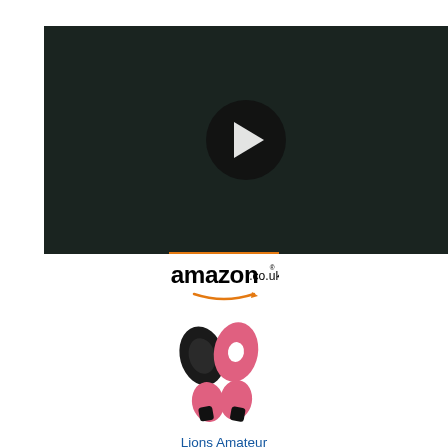[Figure (screenshot): Video player with dark background and white play button (triangle) in the center, indicating a paused or unstarted video.]
[Figure (screenshot): Amazon.co.uk advertisement showing the Amazon logo with orange smile underline, and a product image of black and pink boxing focus pads and pink boxing gloves. Below is the product title: Lions Amateur Fitness Boxing...]